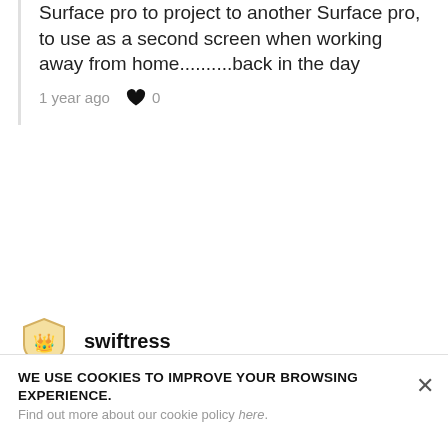Surface pro to project to another Surface pro, to use as a second screen when working away from home..........back in the day
1 year ago ♥ 0
swiftress
At least it's not yet another projection onto WinRT. That's a developer joke. I'll show myself out.
1 year ago ♥ 0
Paul Thurrott Premium
WE USE COOKIES TO IMPROVE YOUR BROWSING EXPERIENCE. Find out more about our cookie policy here.